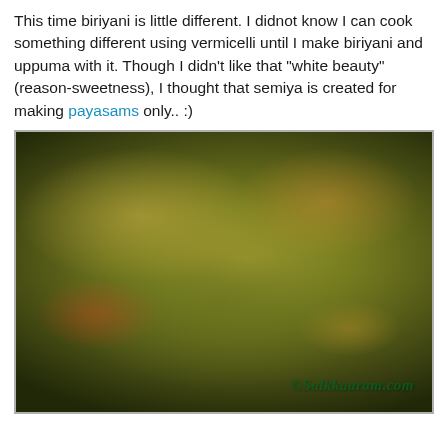This time biriyani is little different. I didnot know I can cook something different using vermicelli until I make biriyani and uppuma with it. Though I didn't like that "white beauty" (reason-sweetness), I thought that semiya is created for making payasams only.. :)
[Figure (photo): A plate of vermicelli biriyani garnished with coriander leaves, tomato slices, and a lemon wedge. Watermark reads ©Salkkaaram.com]